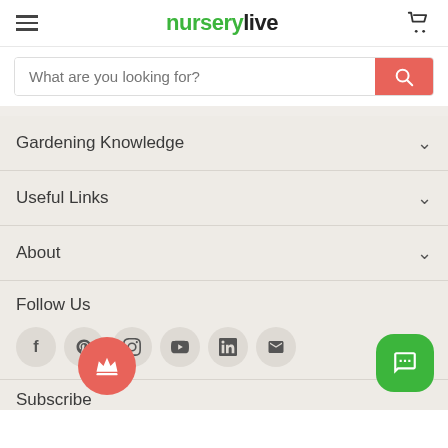nurserylive
What are you looking for?
Gardening Knowledge
Useful Links
About
Follow Us
Subscribe